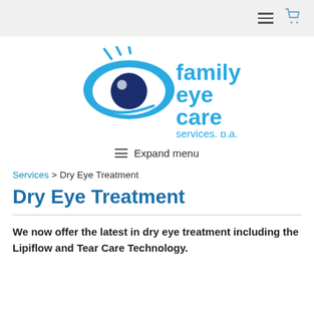[Figure (logo): Family Eye Care Services, p.a. logo — a blue eye graphic with lashes and text 'family eye care services, p.a.' in blue]
≡  Expand menu
Services > Dry Eye Treatment
Dry Eye Treatment
We now offer the latest in dry eye treatment including the Lipiflow and Tear Care Technology.